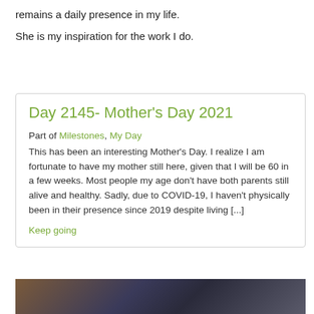remains a daily presence in my life.
She is my inspiration for the work I do.
Day 2145- Mother's Day 2021
Part of Milestones, My Day
This has been an interesting Mother's Day. I realize I am fortunate to have my mother still here, given that I will be 60 in a few weeks. Most people my age don't have both parents still alive and healthy. Sadly, due to COVID-19, I haven't physically been in their presence since 2019 despite living [...]
Keep going
[Figure (photo): A photo strip showing what appears to be a brick building and other outdoor elements]